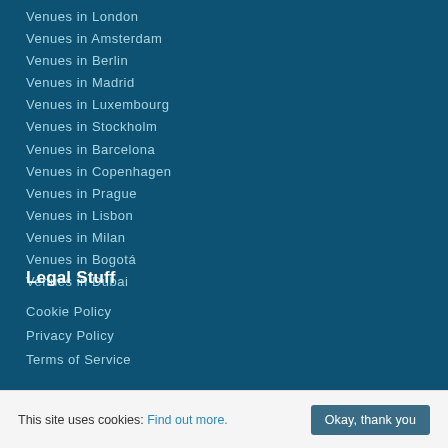Venues in London
Venues in Amsterdam
Venues in Berlin
Venues in Madrid
Venues in Luxembourg
Venues in Stockholm
Venues in Barcelona
Venues in Copenhagen
Venues in Prague
Venues in Lisbon
Venues in Milan
Venues in Bogotá
Venues in Dubai
Legal Stuff
Cookie Policy
Privacy Policy
Terms of Service
This site uses cookies: Find out more. Okay, thank you